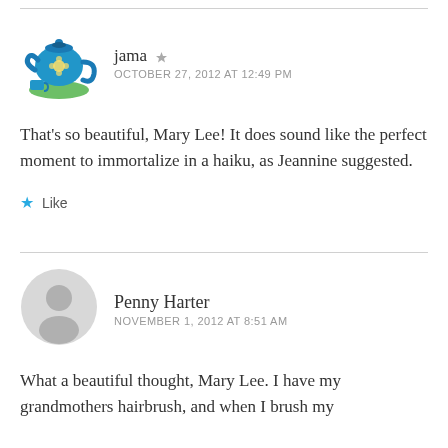[Figure (illustration): Blue teapot avatar icon for user jama]
jama
OCTOBER 27, 2012 AT 12:49 PM
That's so beautiful, Mary Lee! It does sound like the perfect moment to immortalize in a haiku, as Jeannine suggested.
★ Like
[Figure (illustration): Generic gray user avatar silhouette for Penny Harter]
Penny Harter
NOVEMBER 1, 2012 AT 8:51 AM
What a beautiful thought, Mary Lee. I have my grandmothers hairbrush, and when I brush my